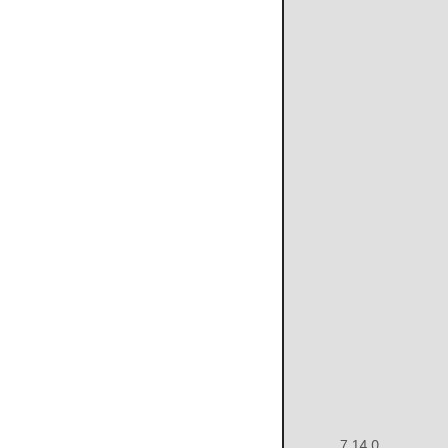9 15 0
9 150
9 17
0
3 SO
3 06 Hay
6 14 0
6 14 0
6 14
0
7 4 0
7 4 0 Clover.... Smithfield
7 14 0
7 14 0
7 15 0
7 14 6 averaged